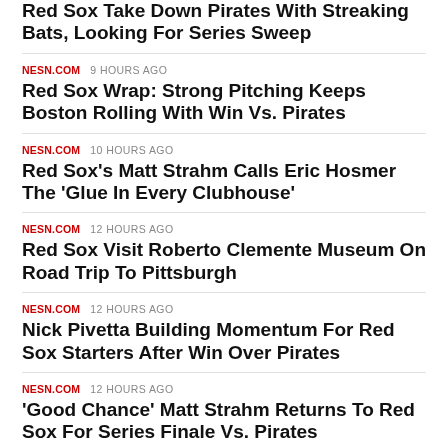Red Sox Take Down Pirates With Streaking Bats, Looking For Series Sweep
NESN.COM  9 HOURS AGO
Red Sox Wrap: Strong Pitching Keeps Boston Rolling With Win Vs. Pirates
NESN.COM  10 HOURS AGO
Red Sox's Matt Strahm Calls Eric Hosmer The 'Glue In Every Clubhouse'
NESN.COM  12 HOURS AGO
Red Sox Visit Roberto Clemente Museum On Road Trip To Pittsburgh
NESN.COM  12 HOURS AGO
Nick Pivetta Building Momentum For Red Sox Starters After Win Over Pirates
NESN.COM  12 HOURS AGO
'Good Chance' Matt Strahm Returns To Red Sox For Series Finale Vs. Pirates